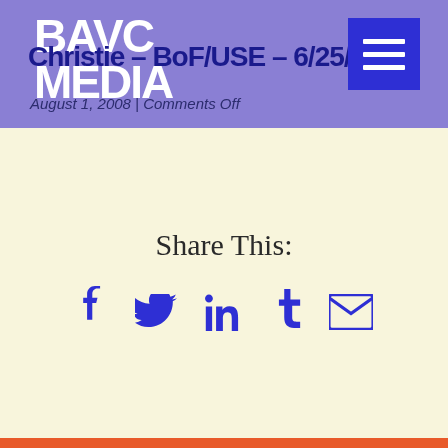BAVC MEDIA — Christie — BoF/USE — 6/25/2005
August 1, 2008 | Comments Off
Share This:
[Figure (infographic): Social share icons: Facebook, Twitter, LinkedIn, Tumblr, Email]